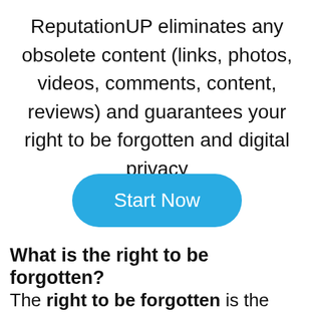ReputationUP eliminates any obsolete content (links, photos, videos, comments, content, reviews) and guarantees your right to be forgotten and digital privacy
[Figure (other): Blue rounded button with white text reading 'Start Now']
What is the right to be forgotten?
The right to be forgotten is the legal